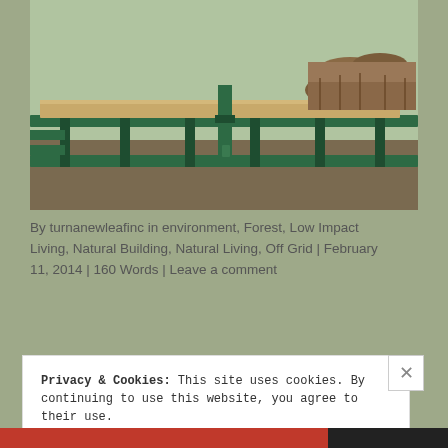[Figure (photo): Photograph of a log sawmill setup outdoors: green metal frame/track with a freshly cut lumber plank lying on it, raw logs stacked in the background, muddy ground, overcast daylight.]
By turnanewleafinc in environment, Forest, Low Impact Living, Natural Building, Natural Living, Off Grid | February 11, 2014 | 160 Words | Leave a comment
Privacy & Cookies: This site uses cookies. By continuing to use this website, you agree to their use.
To find out more, including how to control cookies, see here: Cookie Policy
Close and accept